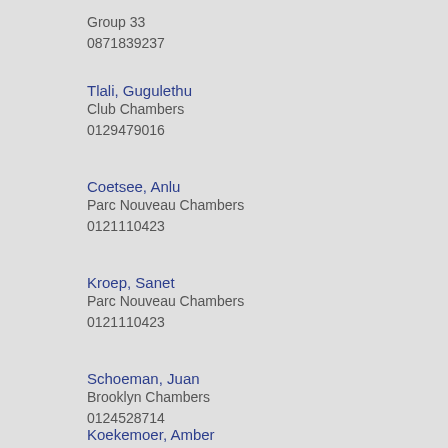Group 33
0871839237
Tlali, Gugulethu
Club Chambers
0129479016
Coetsee, Anlu
Parc Nouveau Chambers
0121110423
Kroep, Sanet
Parc Nouveau Chambers
0121110423
Schoeman, Juan
Brooklyn Chambers
0124528714
Koekemoer, Amber